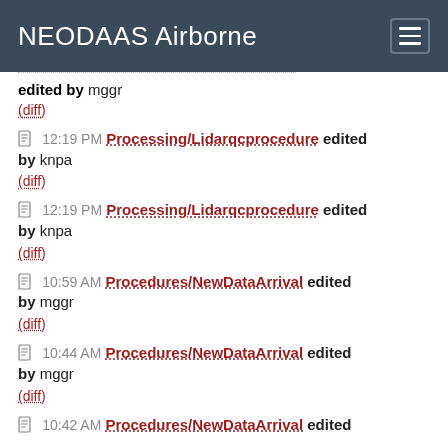NEODAAS Airborne
edited by mggr
(diff)
12:19 PM Processing/Lidarqcprocedure edited by knpa (diff)
12:19 PM Processing/Lidarqcprocedure edited by knpa (diff)
10:59 AM Procedures/NewDataArrival edited by mggr (diff)
10:44 AM Procedures/NewDataArrival edited by mggr (diff)
10:42 AM Procedures/NewDataArrival edited